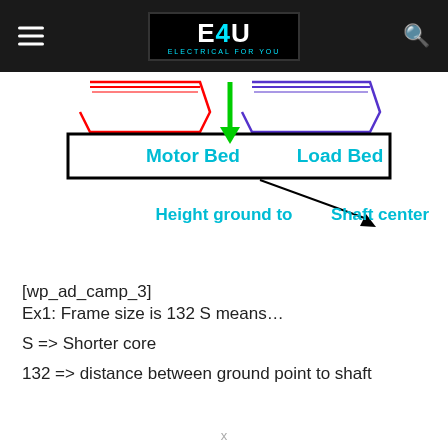E4U — ELECTRICAL FOR YOU
[Figure (engineering-diagram): Engineering diagram showing motor bed (red outline, left) and load bed (blue outline, right) with a green downward arrow between them indicating shaft center height. A black arrow points down-right to the label 'Height ground to Shaft center'. A thick black rectangle outlines both beds labeled 'Motor Bed' and 'Load Bed' in cyan text.]
[wp_ad_camp_3]
Ex1: Frame size is 132 S means…
S => Shorter core
132 = > distance between ground point to shaft